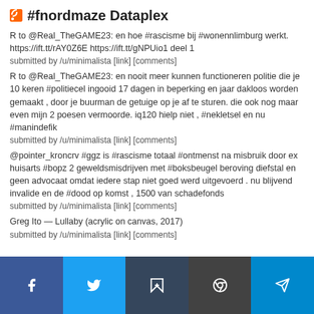#fnordmaze Dataplex
R to @Real_TheGAME23: en hoe #rascisme bij #wonennlimburg werkt. https://ift.tt/rAY0Z6E https://ift.tt/gNPUio1 deel 1
submitted by /u/minimalista [link] [comments]
R to @Real_TheGAME23: en nooit meer kunnen functioneren politie die je 10 keren #politiecel ingooid 17 dagen in beperking en jaar dakloos worden gemaakt , door je buurman de getuige op je af te sturen. die ook nog maar even mijn 2 poesen vermoorde. iq120 hielp niet , #nekletsel en nu #manindefik
submitted by /u/minimalista [link] [comments]
@pointer_kroncrv #ggz is #rascisme totaal #ontmenst na misbruik door ex huisarts #bopz 2 geweldsmisdrijven met #boksbeugel beroving diefstal en geen advocaat omdat iedere stap niet goed werd uitgevoerd . nu blijvend invalide en de #dood op komst , 1500 van schadefonds
submitted by /u/minimalista [link] [comments]
Greg Ito — Lullaby (acrylic on canvas, 2017)
submitted by /u/minimalista [link] [comments]
Jaroslav Paur (1918-1987) — In Space [oil on canvas, 1985]
Facebook Twitter Tumblr Reddit Telegram